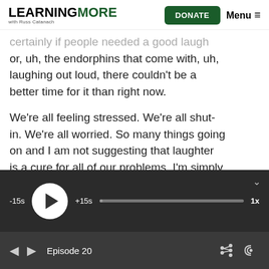LEARNINGMORE with Russ Catanach
certainly if people needed a good laugh or, uh, the endorphins that come with, uh, laughing out loud, there couldn't be a better time for it than right now.
We're all feeling stressed. We're all shut-in. We're all worried. So many things going on and I am not suggesting that laughter is a cure for all of our problems. I'm simply saying it helps to feel better. If you can at least smile or maybe just segregate the
[Figure (other): Audio player bar with -15s skip, play button, +15s skip, progress bar, and 1x speed control on dark background]
Episode 20